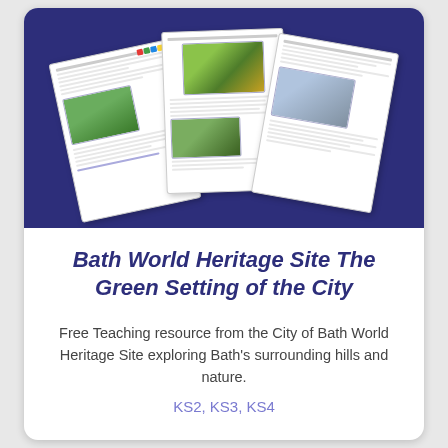[Figure (illustration): Fan of three document worksheet pages spread out on a dark blue background, showing educational resource preview sheets with images of landscapes and paintings]
Bath World Heritage Site The Green Setting of the City
Free Teaching resource from the City of Bath World Heritage Site exploring Bath's surrounding hills and nature.
KS2, KS3, KS4